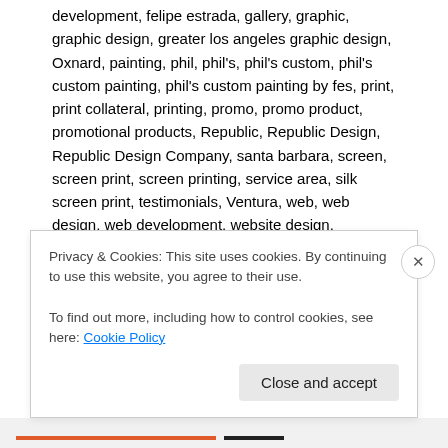development, felipe estrada, gallery, graphic, graphic design, greater los angeles graphic design, Oxnard, painting, phil, phil's, phil's custom, phil's custom painting, phil's custom painting by fes, print, print collateral, printing, promo, promo product, promotional products, Republic, Republic Design, Republic Design Company, santa barbara, screen, screen print, screen printing, service area, silk screen print, testimonials, Ventura, web, web design, web development, website design, websites, welcome
Leave a comment
The principal of Phil's Custom Painting commissioned Republic Design company for the design and implementation of www.philscustompainting.com website
Privacy & Cookies: This site uses cookies. By continuing to use this website, you agree to their use.
To find out more, including how to control cookies, see here: Cookie Policy
Close and accept